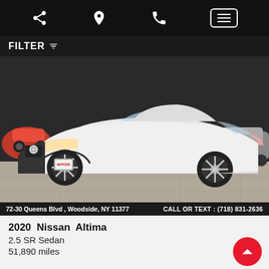Navigation bar with share, location, phone, and menu icons
FILTER
[Figure (photo): A white 2020 Nissan Altima 2.5 SR Sedan photographed at a dealership showroom. The car is parked indoors on a tiled floor with painted car graphics on a dark wall in the background.]
72-30 Queens Blvd , Woodside, NY 11377   CALL OR TEXT : (718) 831-2636
2020  Nissan  Altima
2.5 SR Sedan
51,890 miles